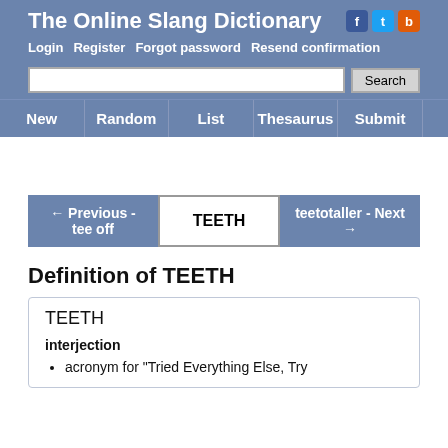The Online Slang Dictionary
Login   Register   Forgot password   Resend confirmation
New   Random   List   Thesaurus   Submit
← Previous - tee off   TEETH   teetotaller - Next →
Definition of TEETH
TEETH
interjection
acronym for "Tried Everything Else, Try